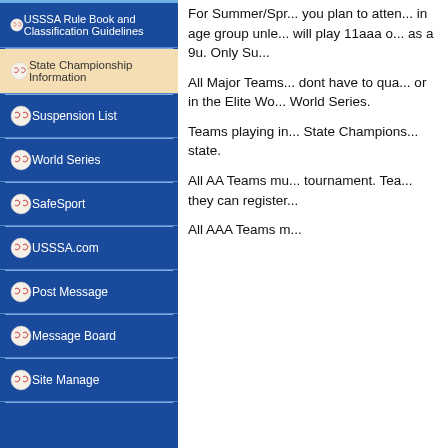USSSA Rule Book and Classification Guidelines
State Championship Information
Suspension List
World Series
SafeSport
USSSA.com
Post Message
Message Board
Site Manage
For Summer/Spr... you plan to atten... in age group unle... will play 11aaa o... as a 9u. Only Su...
All Major Teams... dont have to qua... or in the Elite Wo... World Series.
Teams playing in... State Champions... state.
All AA Teams mu... tournament. Tea... they can register...
All AAA Teams m...